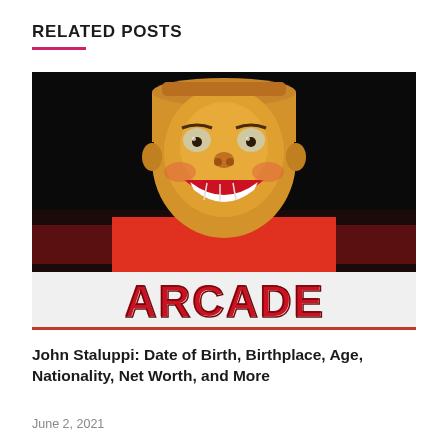RELATED POSTS
[Figure (photo): Arcade sign with a large smiling cartoon face mask above the word ARCADE in red letters on a white background.]
John Staluppi: Date of Birth, Birthplace, Age, Nationality, Net Worth, and More
June 2, 2021